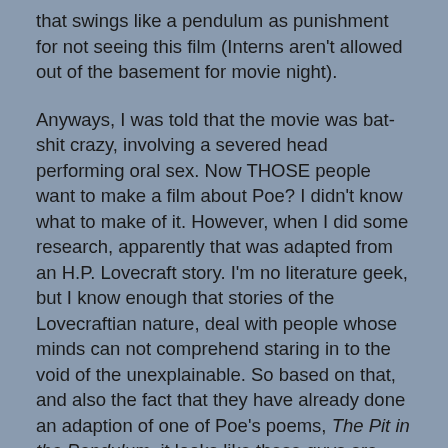that swings like a pendulum as punishment for not seeing this film (Interns aren't allowed out of the basement for movie night).
Anyways, I was told that the movie was bat-shit crazy, involving a severed head performing oral sex. Now THOSE people want to make a film about Poe? I didn't know what to make of it. However, when I did some research, apparently that was adapted from an H.P. Lovecraft story. I'm no literature geek, but I know enough that stories of the Lovecraftian nature, deal with people whose minds can not comprehend staring in to the void of the unexplainable. So based on that, and also the fact that they have already done an adaption of one of Poe's poems, The Pit in the Pendulum, it looks like these guys are really passionate and understand the craft of good literature, Edgar Allen Poe included.
What also makes me excited, is that Nevermore is actually adapted from the stage play done by the same duo of Combs and Gardner. There are already rave criticisms rolling in...